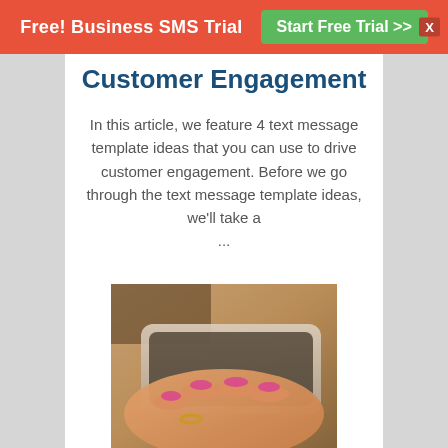Free! Business SMS Trial  Start Free Trial >>  X
Customer Engagement
In this article, we feature 4 text message template ideas that you can use to drive customer engagement. Before we go through the text message template ideas, we’ll take a ...
[Figure (photo): A woman's hand with pink painted nails holding a smartphone, wearing a ring, warm filtered tone]